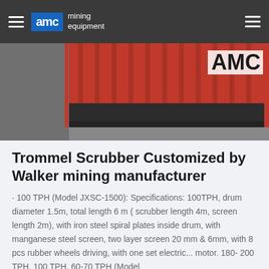AMC mining equipment
[Figure (photo): Close-up photo of a red trommel scrubber drum with AMC branding visible in the background]
Trommel Scrubber Customized by Walker mining manufacturer
· 100 TPH (Model JXSC-1500): Specifications: 100TPH, drum diameter 1.5m, total length 6 m ( scrubber length 4m, screen length 2m), with iron steel spiral plates inside drum, with manganese steel screen, two layer screen 20 mm & 6mm, with 8 pcs rubber wheels driving, with one set electric... motor. 180- 200 TPH. 100 TPH. 60-70 TPH (Model